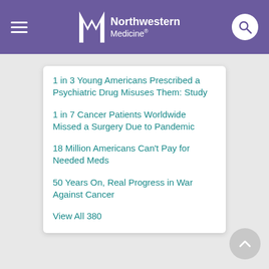Northwestern Medicine
1 in 3 Young Americans Prescribed a Psychiatric Drug Misuses Them: Study
1 in 7 Cancer Patients Worldwide Missed a Surgery Due to Pandemic
18 Million Americans Can't Pay for Needed Meds
50 Years On, Real Progress in War Against Cancer
View All 380